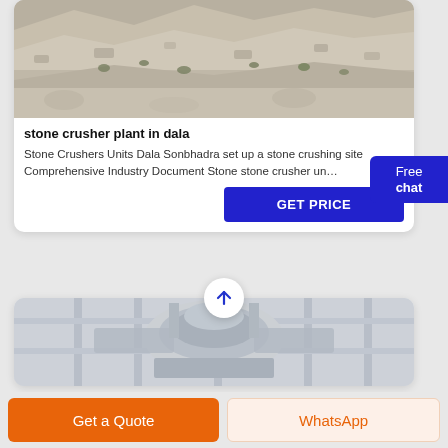[Figure (photo): Photograph of a stone crusher plant site in Dala showing rocky terrain with sparse vegetation]
stone crusher plant in dala
Stone Crushers Units Dala Sonbhadra set up a stone crushing site Comprehensive Industry Document Stone stone crusher un…
[Figure (photo): Photograph of an industrial crusher machine with large cylindrical components and metal framework]
Get a Quote
WhatsApp